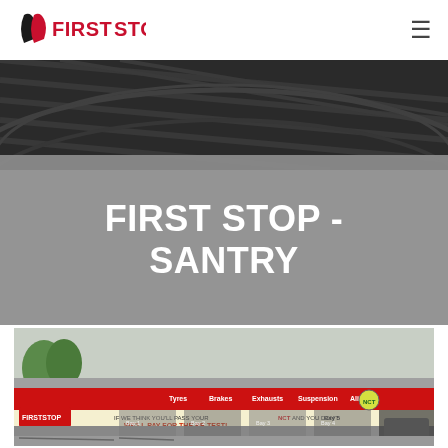First Stop - Navigation Header
[Figure (logo): First Stop logo with stylized tyre icon and red text reading FIRST STOP]
FIRST STOP - SANTRY
[Figure (photo): Exterior photo of First Stop Santry garage showing bays 1-5, red and grey fascia with branding, NCT guarantee sign reading IF WE THINK YOU'LL PASS YOUR NCT AND YOU DON'T WE'LL PAY FOR THE RE-TEST!, service categories listed: Tyres, Brakes, Exhausts, Suspension, Alignment]